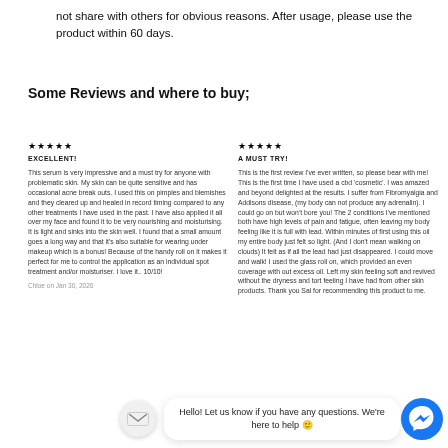not share with others for obvious reasons. After usage, please use the product within 60 days.
Some Reviews and where to buy;
★★★★★
EXCELLENT!

This serum is very impressive and a must try for anyone with problematic skin. My skin can be quite sensitive and has occasional acne break outs. I used this on pimples and blemishes and they cleared up and healed in record timing compared to any other treatments I have used in the past. I have also applied it all over my face and found it to be very nourishing and moisturising. It is light and sinks into the skin well. I found that a small amount goes a long way and that it's also suitable for wearing under makeup which is a bonus! Because of the handy roll on it makes it perfect for me to control the application as an individual spot treatment and/or moisturiser. I love it.. 10/10!

Chloe on Jan 30, 2020
★★★★★
A MUST TRY!

This is the first review I've ever written, so please bear with me! This is the first time I have used a cbd 'cosmetic'. I was amazed and beyond delighted at the results. I suffer from Fibromyalgia and Addisons disease, (my body can not produce any adrenalin). I could go on but won't bore you! The 2 conditions I've mentioned both have high levels of pain and fatigue, often leaving my body feeling like it is full with lead. Within minutes of first using this oil my entire body just felt so light. (And I don't mean walking on clouds) It felt as if all the lead had just disappeared. I could move and walk! I used the glass roll on, which provided an even coverage with out excess oil. Left my skin feeling soft and revived without the dryness and tort feeling I have had from other skin products. Thank you Sal for recommending this product to me.
Hello! Let us know if you have any questions. We're here to help 🙂